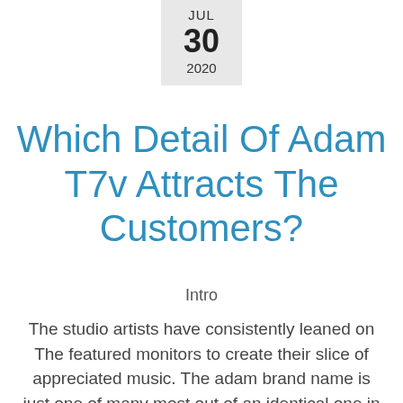JUL 30 2020
Which Detail Of Adam T7v Attracts The Customers?
Intro
The studio artists have consistently leaned on The featured monitors to create their slice of appreciated music. The adam brand name is just one of many most out of an identical one in